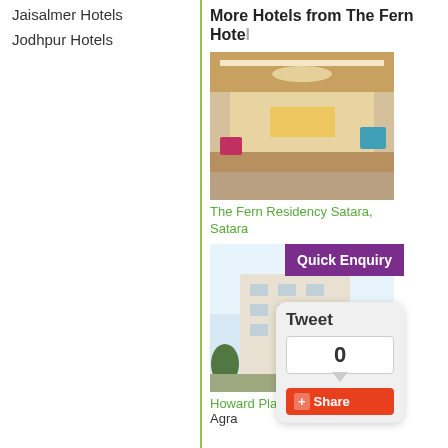Jaisalmer Hotels
Jodhpur Hotels
More Hotels from The Fern Hotel
[Figure (photo): Hotel lobby interior with chandelier, reception desk and seating area]
The Fern Residency Satara, Satara
[Figure (photo): Hotel exterior building with trees]
Howard Plaza The F... Agra
Quick Enquiry
Tweet 0 Share
Pay Online
HOME | ABOUT US | DISCLAIMER | TERMS & CONDITIONS | PRIVACY PO...
Need to Book a Hotel?